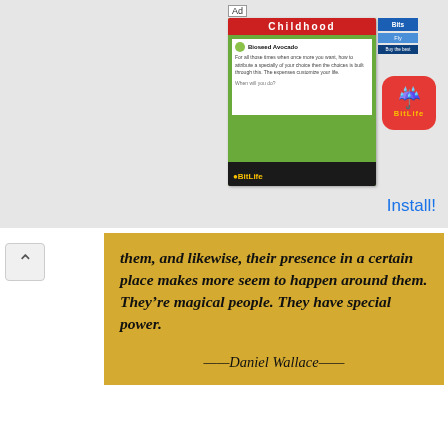[Figure (screenshot): BitLife app advertisement banner showing Childhood game card and BitLife app icon with Install button]
them, and likewise, their presence in a certain place makes more seem to happen around them. They're magical people. They have special power.

——Daniel Wallace——
“There are those rare people who function like human magnets, who are individually so attractive – or repellent, depending on the situation – that a considerable amount more seems to happen to them, and likewise, their presence in a certain place makes more seem to happen around them.